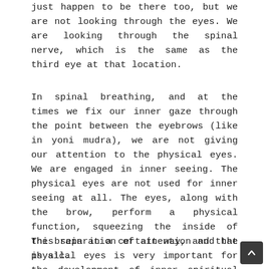just happen to be there too, but we are not looking through the eyes. We are looking through the spinal nerve, which is the same as the third eye at that location.
In spinal breathing, and at the times we fix our inner gaze through the point between the eyebrows (like in yoni mudra), we are not giving our attention to the physical eyes. We are engaged in inner seeing. The physical eyes are not used for inner seeing at all. The eyes, along with the brow, perform a physical function, squeezing the inside of the brain in a certain way, and that is all.
This separation of attention and the physical eyes is very important for the development of inner spiritual experiences.